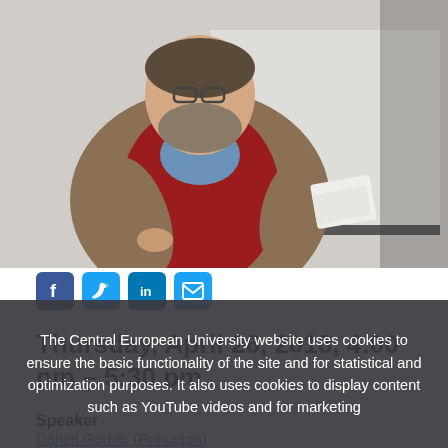[Figure (photo): A bearded man with glasses wearing a brown blazer over a red sweater and blue shirt, holding papers, standing in front of a whiteboard or screen.]
[Figure (infographic): Social media sharing icons: Facebook, Twitter, LinkedIn, Email]
Thursday, April 26, 2018, 4:00 pm – 5:30 pm
Speaker
Daniel Gerber (Princeton)
The Central European University website uses cookies to ensure the basic functionality of the site and for statistical and optimization purposes. It also uses cookies to display content such as YouTube videos and for marketing